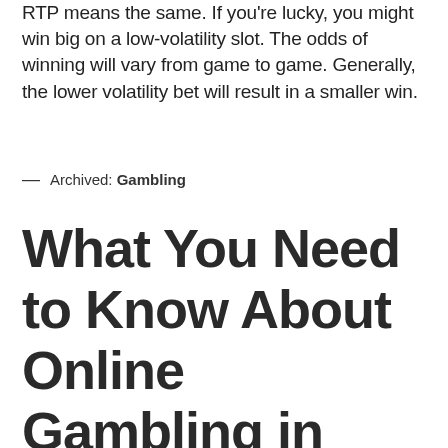RTP means the same. If you're lucky, you might win big on a low-volatility slot. The odds of winning will vary from game to game. Generally, the lower volatility bet will result in a smaller win.
— Archived: Gambling
What You Need to Know About Online Gambling in These States